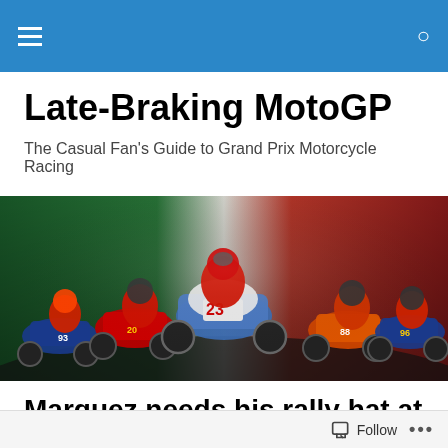Late-Braking MotoGP — navigation bar
Late-Braking MotoGP
The Casual Fan's Guide to Grand Prix Motorcycle Racing
[Figure (photo): Hero image showing a group of MotoGP motorcycle racers at the start of a race, with an Italian flag (green, white, red) in the background. Racer #23 is prominent in the center on a white/blue Gresini Ducati.]
Marquez needs his rally hat at Spain #2